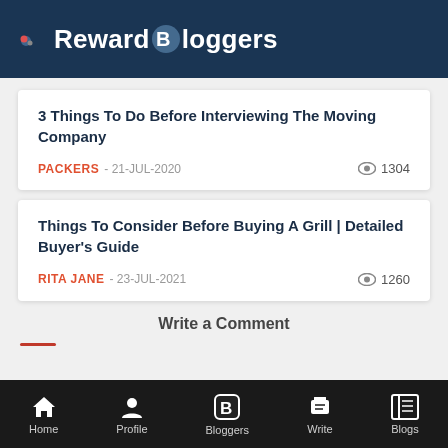Reward Bloggers
3 Things To Do Before Interviewing The Moving Company
PACKERS - 21-JUL-2020   1304 views
Things To Consider Before Buying A Grill | Detailed Buyer's Guide
RITA JANE - 23-JUL-2021   1260 views
Write a Comment
Home | Profile | Bloggers | Write | Blogs